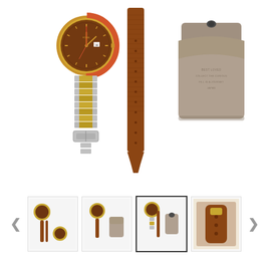[Figure (photo): Product photo showing a GMT-style wristwatch with brown dial, red and gold bezel, two-tone (silver and gold) bracelet, a brown leather strap with holes, and a brown leather watch roll/pouch case with embossed text, all displayed on white background.]
[Figure (photo): Thumbnail 1: Small product image showing watch with multiple straps laid out.]
[Figure (photo): Thumbnail 2: Small product image showing watch with straps and pouch.]
[Figure (photo): Thumbnail 3 (active/selected): Small product image showing watch with leather strap and case, highlighted with border.]
[Figure (photo): Thumbnail 4: Close-up photo detail of leather strap and watch components.]